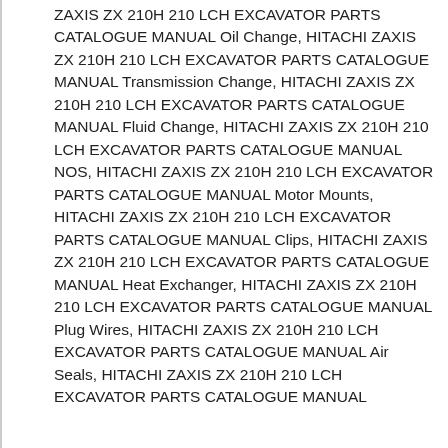ZAXIS ZX 210H 210 LCH EXCAVATOR PARTS CATALOGUE MANUAL Oil Change, HITACHI ZAXIS ZX 210H 210 LCH EXCAVATOR PARTS CATALOGUE MANUAL Transmission Change, HITACHI ZAXIS ZX 210H 210 LCH EXCAVATOR PARTS CATALOGUE MANUAL Fluid Change, HITACHI ZAXIS ZX 210H 210 LCH EXCAVATOR PARTS CATALOGUE MANUAL NOS, HITACHI ZAXIS ZX 210H 210 LCH EXCAVATOR PARTS CATALOGUE MANUAL Motor Mounts, HITACHI ZAXIS ZX 210H 210 LCH EXCAVATOR PARTS CATALOGUE MANUAL Clips, HITACHI ZAXIS ZX 210H 210 LCH EXCAVATOR PARTS CATALOGUE MANUAL Heat Exchanger, HITACHI ZAXIS ZX 210H 210 LCH EXCAVATOR PARTS CATALOGUE MANUAL Plug Wires, HITACHI ZAXIS ZX 210H 210 LCH EXCAVATOR PARTS CATALOGUE MANUAL Air Seals, HITACHI ZAXIS ZX 210H 210 LCH EXCAVATOR PARTS CATALOGUE MANUAL